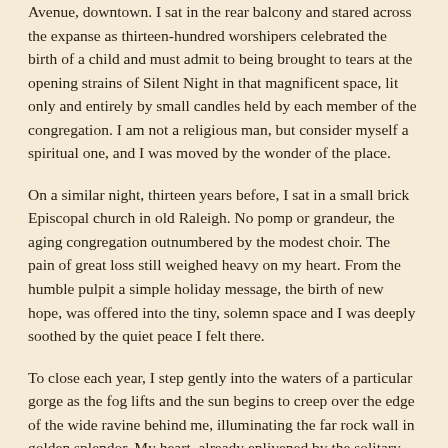Avenue, downtown. I sat in the rear balcony and stared across the expanse as thirteen-hundred worshipers celebrated the birth of a child and must admit to being brought to tears at the opening strains of Silent Night in that magnificent space, lit only and entirely by small candles held by each member of the congregation. I am not a religious man, but consider myself a spiritual one, and I was moved by the wonder of the place.
On a similar night, thirteen years before, I sat in a small brick Episcopal church in old Raleigh. No pomp or grandeur, the aging congregation outnumbered by the modest choir. The pain of great loss still weighed heavy on my heart. From the humble pulpit a simple holiday message, the birth of new hope, was offered into the tiny, solemn space and I was deeply soothed by the quiet peace I felt there.
To close each year, I step gently into the waters of a particular gorge as the fog lifts and the sun begins to creep over the edge of the wide ravine behind me, illuminating the far rock wall in golden splendor. My heart, already enlivened by the solitary hike in, leaps from my body and soars into the pine rafters of that Nature’s sanctuary. Eyes closed, my face to the heavens, I soak in the majesty of our Mother’s temple and send skyward heartfelt prayers of thanks for the year past and hopes for the coming to whoever might be listening. The place, in return, fills me with joy.